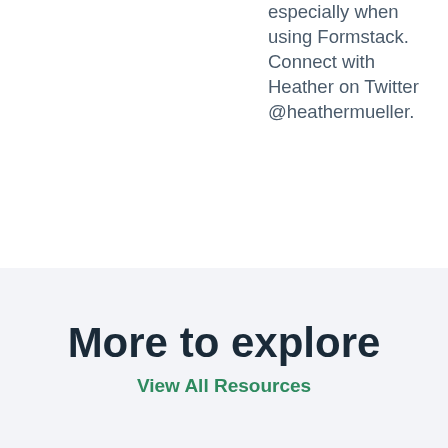especially when using Formstack. Connect with Heather on Twitter @heathermueller.
More to explore
View All Resources